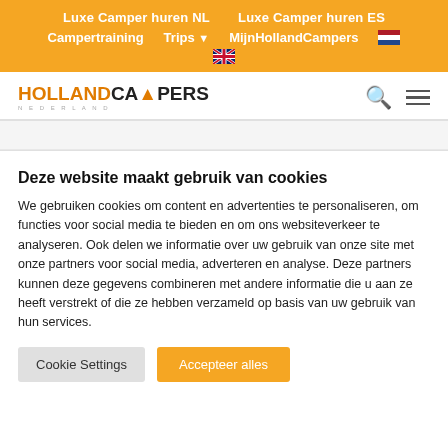Luxe Camper huren NL | Luxe Camper huren ES | Campertraining | Trips | MijnHollandCampers
[Figure (logo): HollandCampers logo with orange flame icon]
Deze website maakt gebruik van cookies
We gebruiken cookies om content en advertenties te personaliseren, om functies voor social media te bieden en om ons websiteverkeer te analyseren. Ook delen we informatie over uw gebruik van onze site met onze partners voor social media, adverteren en analyse. Deze partners kunnen deze gegevens combineren met andere informatie die u aan ze heeft verstrekt of die ze hebben verzameld op basis van uw gebruik van hun services.
Cookie Settings | Accepteer alles